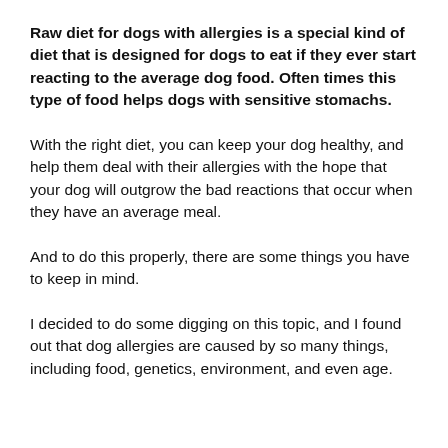Raw diet for dogs with allergies is a special kind of diet that is designed for dogs to eat if they ever start reacting to the average dog food. Often times this type of food helps dogs with sensitive stomachs.
With the right diet, you can keep your dog healthy, and help them deal with their allergies with the hope that your dog will outgrow the bad reactions that occur when they have an average meal.
And to do this properly, there are some things you have to keep in mind.
I decided to do some digging on this topic, and I found out that dog allergies are caused by so many things, including food, genetics, environment, and even age.